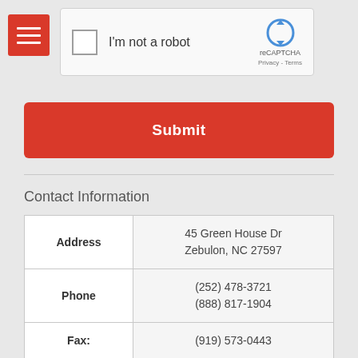[Figure (screenshot): reCAPTCHA widget with checkbox labeled 'I'm not a robot' and reCAPTCHA logo showing 'Privacy - Terms']
[Figure (other): Red hamburger menu icon with three white horizontal lines]
Submit
Contact Information
| Address | 45 Green House Dr
Zebulon, NC 27597 |
| Phone | (252) 478-3721
(888) 817-1904 |
| Fax: | (919) 573-0443 |
| Email |  |